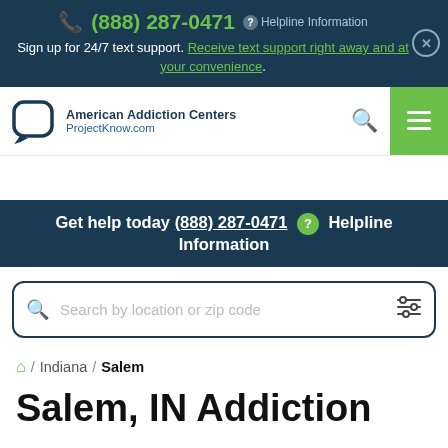(888) 287-0471  Helpline Information
Sign up for 24/7 text support. Receive text support right away and at your convenience.
[Figure (logo): American Addiction Centers ProjectKnow.com logo with speech bubble icon]
Get help today (888) 287-0471  Helpline Information
Search by location or zip code
Home / Indiana / Salem
Salem, IN Addiction